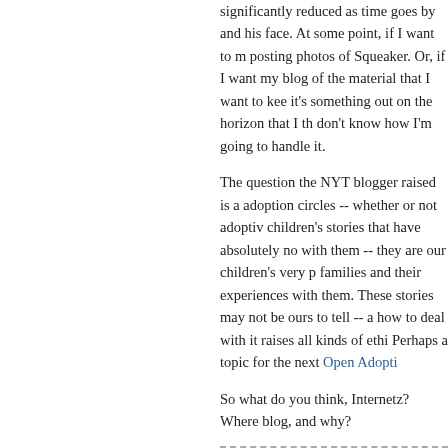significantly reduced as time goes by and his face. At some point, if I want to managing posting photos of Squeaker. Or, if I want to my blog of the material that I want to keep it's something out on the horizon that I th don't know how I'm going to handle it.
The question the NYT blogger raised is a adoption circles -- whether or not adoptiv children's stories that have absolutely no with them -- they are our children's very p families and their experiences with them. These stories may not be ours to tell -- a how to deal with it raises all kinds of ethi Perhaps a topic for the next Open Adopti
So what do you think, Internetz? Where blog, and why?
Posted at 11:35 AM in adoption, choices, meta |
Comments
[Figure (photo): Small green mosaic/tile avatar image]